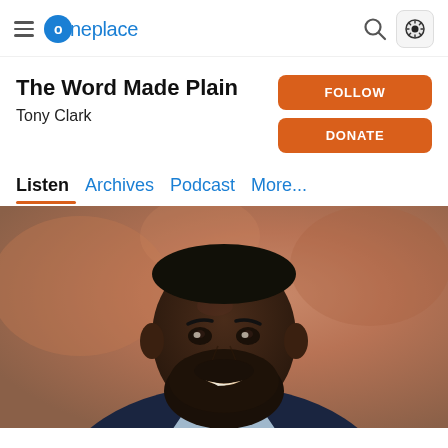oneplace
The Word Made Plain
Tony Clark
FOLLOW
DONATE
Listen  Archives  Podcast  More...
[Figure (photo): Professional headshot of Tony Clark, a Black man with a full beard, smiling, wearing a dark suit and light blue shirt, against a blurred warm-toned background.]